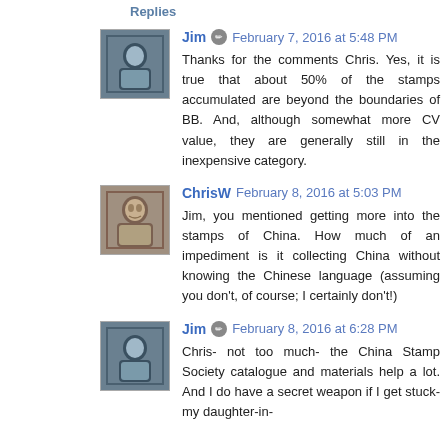Replies
Jim  February 7, 2016 at 5:48 PM
Thanks for the comments Chris. Yes, it is true that about 50% of the stamps accumulated are beyond the boundaries of BB. And, although somewhat more CV value, they are generally still in the inexpensive category.
ChrisW  February 8, 2016 at 5:03 PM
Jim, you mentioned getting more into the stamps of China. How much of an impediment is it collecting China without knowing the Chinese language (assuming you don't, of course; I certainly don't!)
Jim  February 8, 2016 at 6:28 PM
Chris- not too much- the China Stamp Society catalogue and materials help a lot. And I do have a secret weapon if I get stuck- my daughter-in-